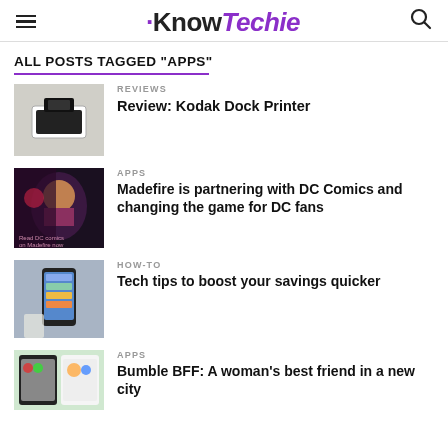KnowTechie
ALL POSTS TAGGED "APPS"
[Figure (photo): Thumbnail image of Kodak Dock Printer with phone]
REVIEWS
Review: Kodak Dock Printer
[Figure (photo): Thumbnail image of DC Comics Wonder Woman character]
APPS
Madefire is partnering with DC Comics and changing the game for DC fans
[Figure (photo): Thumbnail image of hand holding smartphone with app icons]
HOW-TO
Tech tips to boost your savings quicker
[Figure (photo): Thumbnail image of apps on phone screens]
APPS
Bumble BFF: A woman's best friend in a new city